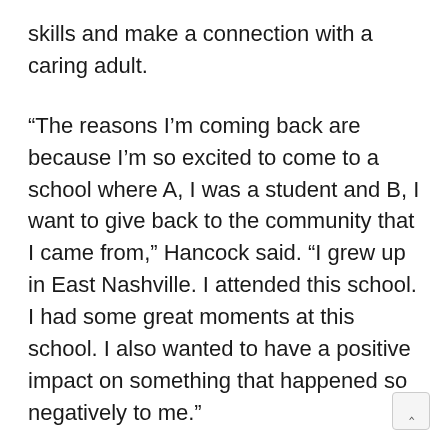skills and make a connection with a caring adult.
“The reasons I’m coming back are because I’m so excited to come to a school where A, I was a student and B, I want to give back to the community that I came from,” Hancock said. “I grew up in East Nashville. I attended this school. I had some great moments at this school. I also wanted to have a positive impact on something that happened so negatively to me.”
Hancock attended a then space-stricken Hattie Cotton as a fifth-grade student. She was placed in a portable with sixth graders, the origin of her bul